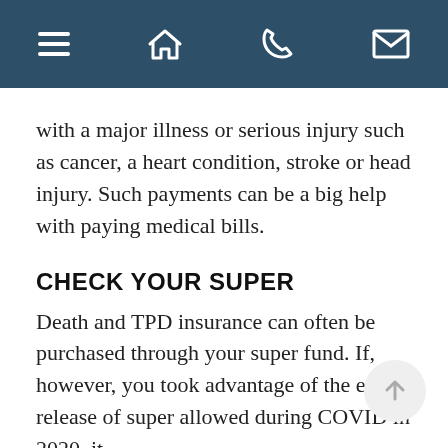Navigation bar with menu, home, phone, and mail icons
with a major illness or serious injury such as cancer, a heart condition, stroke or head injury. Such payments can be a big help with paying medical bills.
CHECK YOUR SUPER
Death and TPD insurance can often be purchased through your super fund. If, however, you took advantage of the early release of super allowed during COVID in 2020, it